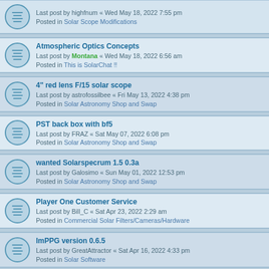Last post by highfnum « Wed May 18, 2022 7:55 pm
Posted in Solar Scope Modifications
Atmospheric Optics Concepts
Last post by Montana « Wed May 18, 2022 6:56 am
Posted in This is SolarChat !!
4" red lens F/15 solar scope
Last post by astrofossilbee « Fri May 13, 2022 4:38 pm
Posted in Solar Astronomy Shop and Swap
PST back box with bf5
Last post by FRAZ « Sat May 07, 2022 6:08 pm
Posted in Solar Astronomy Shop and Swap
wanted Solarspecrum 1.5 0.3a
Last post by Galosimo « Sun May 01, 2022 12:53 pm
Posted in Solar Astronomy Shop and Swap
Player One Customer Service
Last post by Bill_C « Sat Apr 23, 2022 2:29 am
Posted in Commercial Solar Filters/Cameras/Hardware
ImPPG version 0.6.5
Last post by GreatAttractor « Sat Apr 16, 2022 4:33 pm
Posted in Solar Software
Noticed the euphemism "frankenscope" and felt compelled...
Last post by doole « Thu Apr 14, 2022 4:04 pm
Posted in Solar Scope Modifications
Moving away from Quark - 60 and 80mm options?
Last post by BGazing « Wed Apr 13, 2022 3:46 pm